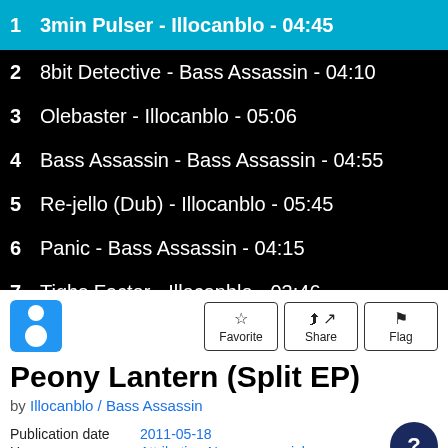1  3min Pulser - Illocanblo  - 04:45
2  8bit Detective - Bass Assassin  - 04:10
3  Olebaster - Illocanblo  - 05:06
4  Bass Assassin - Bass Assassin  - 04:55
5  Re-jello (Dub) - Illocanblo  - 05:45
6  Panic - Bass Assassin  - 04:15
7  Tighs Factor - Illocanblo  - 03:46
Peony Lantern (Split EP)
by Illocanblo / Bass Assassin
Publication date  2011-05-18
Usage  Attribution-Noncommercial-Share Alike 3.0